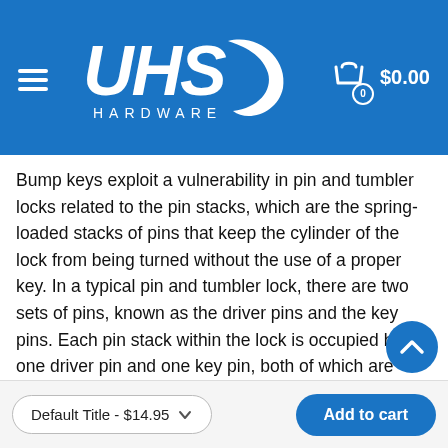UHS Hardware — $0.00 cart
Bump keys exploit a vulnerability in pin and tumbler locks related to the pin stacks, which are the spring-loaded stacks of pins that keep the cylinder of the lock from being turned without the use of a proper key. In a typical pin and tumbler lock, there are two sets of pins, known as the driver pins and the key pins. Each pin stack within the lock is occupied by one driver pin and one key pin, both of which are pressed tightly against each other by way of a small spring attached to the driver pin. The point at which each set of pins meet is different for each pin stack, which is why a typical key is cut at different depths to accommodate this intentional misalignment. Once the correct key is inserted, it causes all of the meeting points of each pin stack to come into alignment, creating what is known as a "shear line." Once
Default Title - $14.95  |  Add to cart